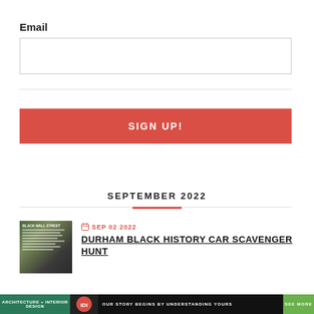Email
[Figure (other): Empty email input field with light gray border]
[Figure (other): Red SIGN UP! button]
SEPTEMBER 2022
[Figure (photo): Thumbnail image of a Black Wall Street historical marker sign]
SEP 02 2022
DURHAM BLACK HISTORY CAR SCAVENGER HUNT
ARCHITECTURE + INTERIOR DESIGN | DESIGN | OUR STORY BEGINS BY UNDERSTANDING YOURS | SEE MORE